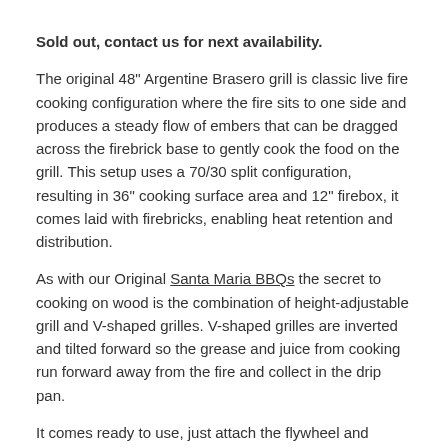Sold out, contact us for next availability.
The original 48" Argentine Brasero grill is classic live fire cooking configuration where the fire sits to one side and produces a steady flow of embers that can be dragged across the firebrick base to gently cook the food on the grill. This setup uses a 70/30 split configuration, resulting in 36" cooking surface area and 12" firebox, it comes laid with firebricks, enabling heat retention and distribution.
As with our Original Santa Maria BBQs the secret to cooking on wood is the combination of height-adjustable grill and V-shaped grilles. V-shaped grilles are inverted and tilted forward so the grease and juice from cooking run forward away from the fire and collect in the drip pan.
It comes ready to use, just attach the flywheel and manoeuvre it into your outdoor kitchen setup. If you're including a cart to sit your grill on, it will need a little assembly – but it's very easy.